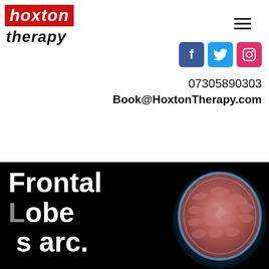[Figure (logo): Hoxton Therapy logo with red background for 'hoxton' text and black 'therapy' text below in italic bold]
[Figure (other): Hamburger menu icon (three horizontal lines)]
[Figure (other): Social media icons: Facebook (blue), Twitter (cyan), Instagram (pink/red)]
07305890303
Book@HoxtonTherapy.com
[Figure (illustration): Banner with black background showing 'Frontal Lobe s arc.' text in large white bold font on the left and a 3D brain illustration on the right with blue and pink coloring]